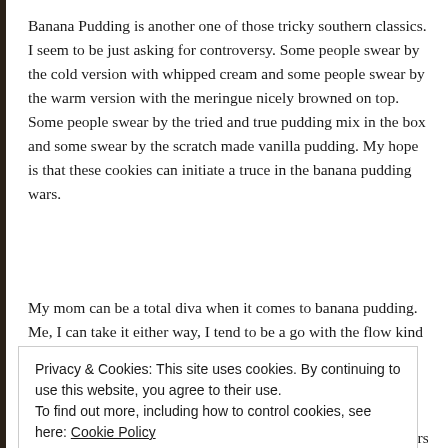Banana Pudding is another one of those tricky southern classics. I seem to be just asking for controversy. Some people swear by the cold version with whipped cream and some people swear by the warm version with the meringue nicely browned on top. Some people swear by the tried and true pudding mix in the box and some swear by the scratch made vanilla pudding. My hope is that these cookies can initiate a truce in the banana pudding wars.
My mom can be a total diva when it comes to banana pudding. Me, I can take it either way, I tend to be a go with the flow kind of girl. When
Privacy & Cookies: This site uses cookies. By continuing to use this website, you agree to their use.
To find out more, including how to control cookies, see here: Cookie Policy
Since I have discovered this recipe for homemade vanilla wafers in